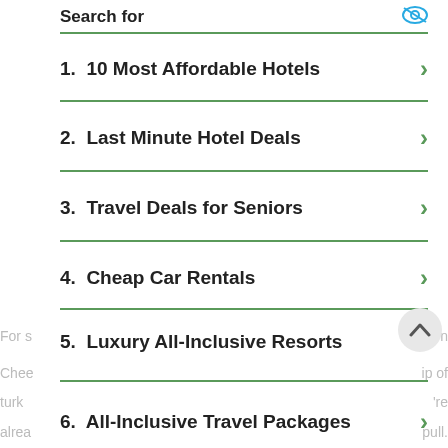Search for
1.  10 Most Affordable Hotels
2.  Last Minute Hotel Deals
3.  Travel Deals for Seniors
4.  Cheap Car Rentals
5.  Luxury All-Inclusive Resorts
6.  All-Inclusive Travel Packages
For s... Chee... turk... alrea...